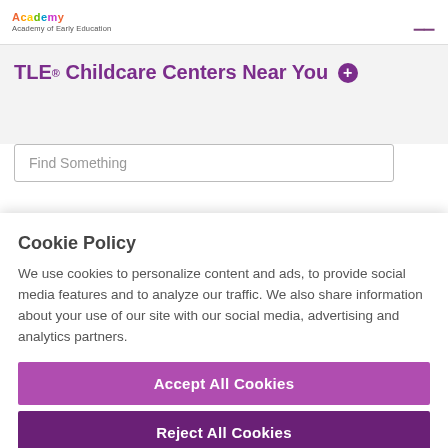Academy of Early Education
TLE® Childcare Centers Near You ⊕
Find Something
Cookie Policy
We use cookies to personalize content and ads, to provide social media features and to analyze our traffic. We also share information about your use of our site with our social media, advertising and analytics partners.
Accept All Cookies
Reject All Cookies
Cookies Settings